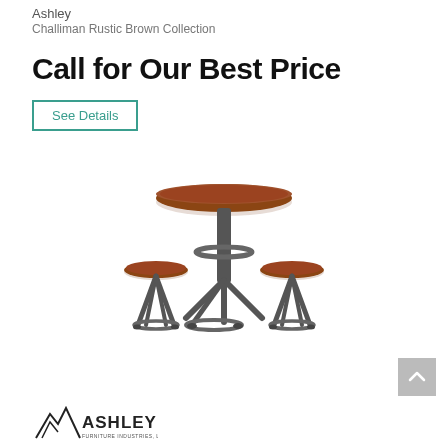Ashley
Challiman Rustic Brown Collection
Call for Our Best Price
See Details
[Figure (photo): A rustic brown round bar table with two round stools, all with dark metal legs and casters, from the Challiman Rustic Brown Collection by Ashley.]
[Figure (logo): Ashley Furniture Industries, LLC logo with mountain graphic]